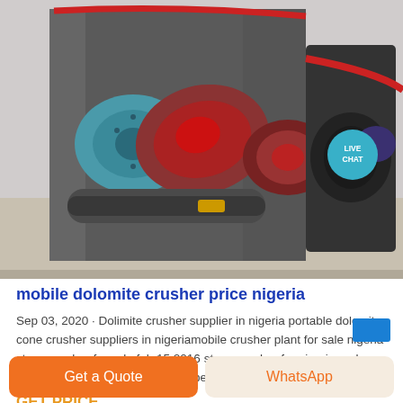[Figure (photo): Photo of a mobile dolomite crusher machine with teal roller, red components and belt conveyor on a warehouse floor. A live chat bubble icon is visible in the top right.]
mobile dolomite crusher price nigeria
Sep 03, 2020 · Dolimite crusher supplier in nigeria portable dolomite cone crusher suppliers in nigeriamobile crusher plant for sale nigeria stone crusher for sale feb 15 2016 stone crusher for nigeria and a supplier in nigeria we can offer types of jaw…
GET PRICE
Get a Quote
WhatsApp